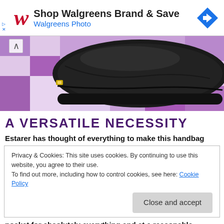[Figure (logo): Walgreens advertisement banner with red cursive W logo, text 'Shop Walgreens Brand & Save' and 'Walgreens Photo', and a blue diamond navigation icon]
[Figure (photo): Close-up photo of a black leather handbag resting on a purple and white checkered fabric background]
A VERSATILE NECESSITY
Estarer has thought of everything to make this handbag
Privacy & Cookies: This site uses cookies. By continuing to use this website, you agree to their use.
To find out more, including how to control cookies, see here: Cookie Policy

Close and accept
pocket for absolutely everything and at a reasonable